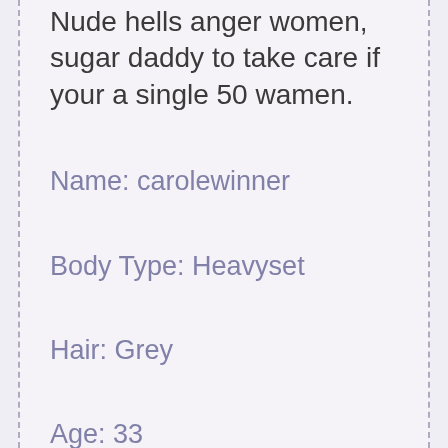Nude hells anger women, sugar daddy to take care if your a single 50 wamen.
Name: carolewinner
Body Type: Heavyset
Hair: Grey
Age: 33